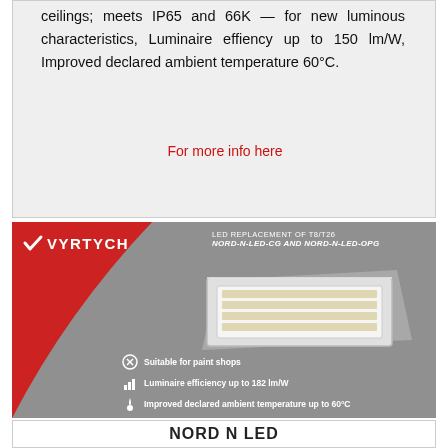ceilings; meets IP65 and 66K — for new luminous characteristics, Luminaire effiency up to 150 lm/W, Improved declared ambient temperature 60°C.
For more info here
[Figure (photo): Vyrtych brand advertisement for NORD-N-LED-CG and NORD-N-LED-OPG luminaires. LED replacement of T8/T26. Features listed: Suitable for paint shops; Luminaire efficiency up to 182 lm/W; Improved declared ambient temperature up to 60°C. Shows a rectangular recessed luminaire fixture on a grey background with red swoosh branding.]
NORD N LED